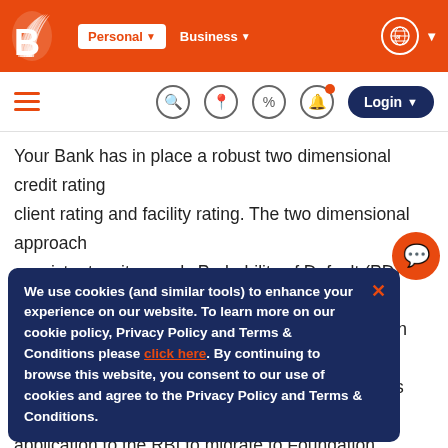[Figure (screenshot): Bank of Baroda website top navigation bar with orange background, logo, Personal and Business links, globe icon]
[Figure (screenshot): Secondary navigation bar with hamburger menu, search, location, percent, bell notification icons, and Login button]
Your Bank has in place a robust two dimensional credit rating client rating and facility rating. The two dimensional approach consistent as it records Probability of Default (PD) and Loss the years, your Bank has gained rich experience in internal r on credit rating migration. This robust platform has enabled y application to the RBI to migrate to Foundation Internal Ratin of Credit Risk under Basel II rules. The FIRB implementation to drive its business in more systematic and sophisticated m primarily to drive its business knowledge of p All emerging an and knowledge su visits, interacting with clients, sector regulators and industry e
We use cookies (and similar tools) to enhance your experience on our website. To learn more on our cookie policy, Privacy Policy and Terms & Conditions please click here. By continuing to browse this website, you consent to our use of cookies and agree to the Privacy Policy and Terms & Conditions.